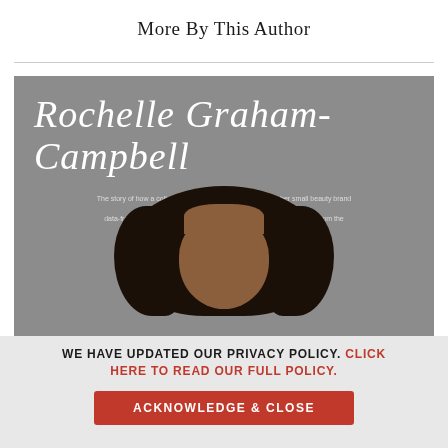More By This Author
[Figure (photo): Book cover for Rochelle Graham-Campbell featuring a script cursive title 'Rochelle Graham-Campbell' in white on a gray background, with a subtitle text block and photo of a Black woman with curly natural hair against a gray background]
WE HAVE UPDATED OUR PRIVACY POLICY. CLICK HERE TO READ OUR FULL POLICY.
ACKNOWLEDGE & CLOSE